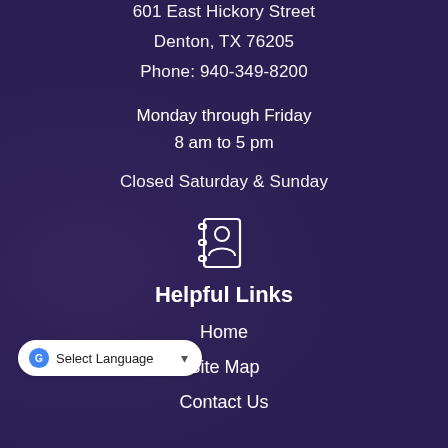601 East Hickory Street
Denton, TX 76205
Phone:  940-349-8200
Monday through Friday
8 am to 5 pm
Closed Saturday & Sunday
[Figure (other): Address book / contact icon — white outline icon of a person in a book with rings on the left side]
Helpful Links
Home
Site Map
Contact Us